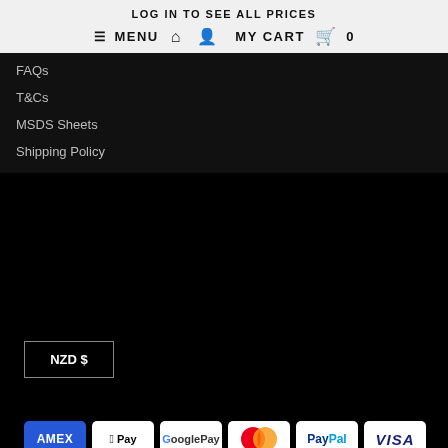LOG IN TO SEE ALL PRICES
≡ MENU  🏠  👤  MY CART  🛍  0
FAQs
T&Cs
MSDS Sheets
Shipping Policy
NZD $
[Figure (logo): Payment method icons: American Express (AMEX), Apple Pay, Google Pay, Mastercard, PayPal, Visa]
[Figure (logo): Social media icons: Facebook and Instagram]